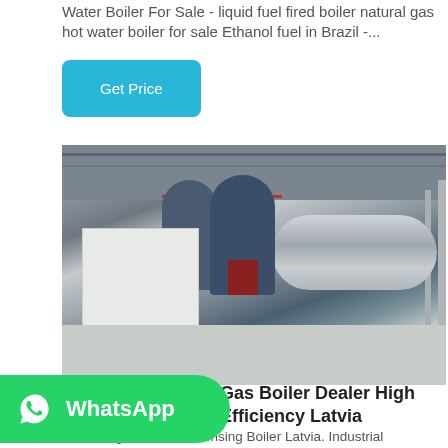Water Boiler For Sale - liquid fuel fired boiler natural gas hot water boiler for sale Ethanol fuel in Brazil -...
Get Price
[Figure (photo): Industrial boiler room with multiple cylindrical boilers (blue and silver), white cabinet equipment, red pipes, and metal piping on the ceiling and walls inside a large industrial facility.]
[Figure (logo): WhatsApp green button with phone icon and WhatsApp text]
Gas Boiler Dealer High Efficiency Latvia
Seller 2t gas fired Condensing Boiler Latvia. Industrial